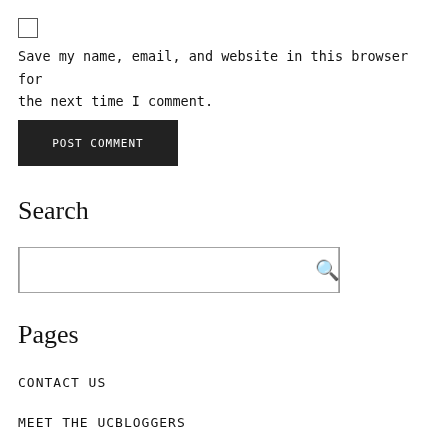☐ Save my name, email, and website in this browser for the next time I comment.
POST COMMENT
Search
[Figure (other): Search input box with magnifying glass icon]
Pages
CONTACT US
MEET THE UCBLOGGERS